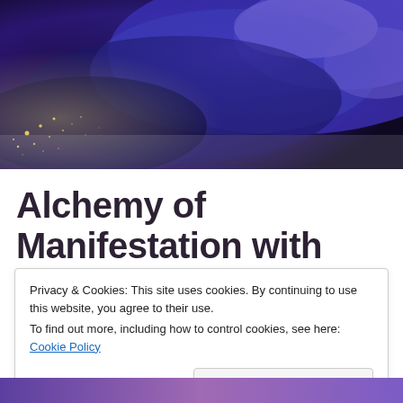[Figure (photo): Aerial/satellite view of Earth at night showing city lights and blue-purple cloud formations, used as a hero banner image.]
Alchemy of Manifestation with Intuitive Healer
Privacy & Cookies: This site uses cookies. By continuing to use this website, you agree to their use.
To find out more, including how to control cookies, see here: Cookie Policy
Close and accept